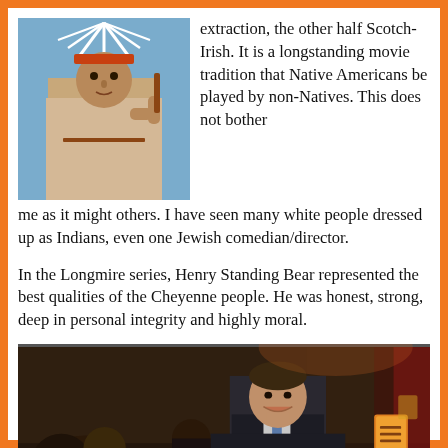[Figure (photo): A Native American man in traditional headdress and regalia, raising his arm, photographed against a blue sky.]
extraction, the other half Scotch-Irish. It is a longstanding movie tradition that Native Americans be played by non-Natives. This does not bother me as it might others. I have seen many white people dressed up as Indians, even one Jewish comedian/director.
In the Longmire series, Henry Standing Bear represented the best qualities of the Cheyenne people. He was honest, strong, deep in personal integrity and highly moral.
[Figure (photo): A man in a suit and tie smiling, surrounded by people in a dimly lit indoor venue, possibly a premiere or event.]